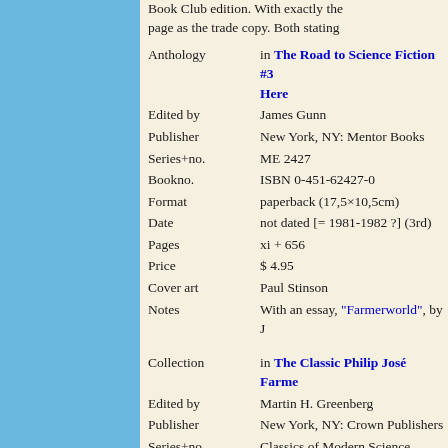Book Club edition. With exactly the same page as the trade copy. Both stating...
Anthology | in The Road to Science Fiction #3 Here
Edited by | James Gunn
Publisher | New York, NY: Mentor Books
Series+no. | ME 2427
Bookno. | ISBN 0-451-62427-0
Format | paperback (17,5×10,5cm)
Date | not dated [= 1981-1982 ?] (3rd)
Pages | xi + 656
Price | $ 4.95
Cover art | Paul Stinson
Notes | With an essay, "Farmerworld", by J
Collection | in The Classic Philip José Farmer
Edited by | Martin H. Greenberg
Publisher | New York, NY: Crown Publishers
Series+no. | Classics of Modern Science Fiction
Bookno. | ISBN 0-517-55193-4
Format | hardcover (18,5×13cm)
Date | 02/1984
Pages | xii + 215
Price | $ 7.95
Cover art | Michael Booth
Notes | -
Collection | in The Classic Philip José Farmer
Edited by | Martin H. Greenberg